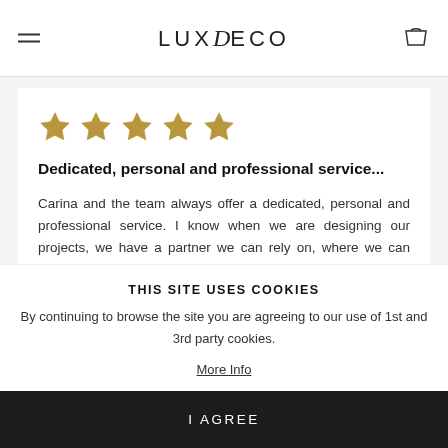LUXDECO
[Figure (other): Five gold star rating icons]
Dedicated, personal and professional service...
Carina and the team always offer a dedicated, personal and professional service. I know when we are designing our projects, we have a partner we can rely on, where we can source the world's...
THIS SITE USES COOKIES
By continuing to browse the site you are agreeing to our use of 1st and 3rd party cookies.
More Info
I AGREE